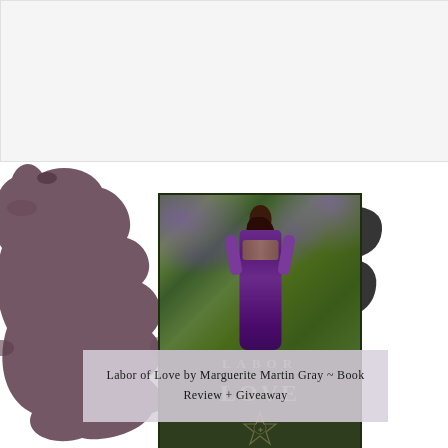[Figure (illustration): Top rectangular area with light grey/white background, appears to be a placeholder or background element]
[Figure (photo): Blog post promotional graphic featuring a book cover for 'Labor of Love' by Marguerite Martin Gray. Shows a woman in a purple medieval dress walking through wisteria. Purple and brown paint splatter decorative shapes surround the book cover. Decorative script text 'Book Review' partially visible on the right side.]
Labor of Love by Marguerite Martin Gray ~ Book Review + Giveaway